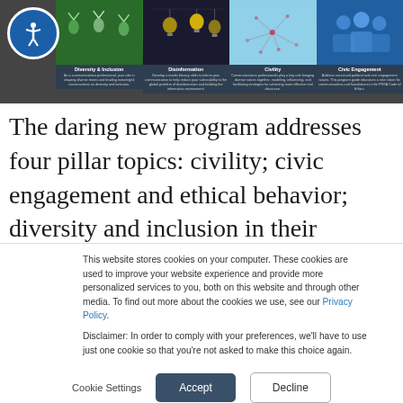[Figure (screenshot): Website screenshot showing four topic panels: Diversity & Inclusion, Disinformation, Civility, Civic Engagement, with an accessibility icon in the top left corner.]
The daring new program addresses four pillar topics: civility; civic engagement and ethical behavior; diversity and inclusion in their
This website stores cookies on your computer. These cookies are used to improve your website experience and provide more personalized services to you, both on this website and through other media. To find out more about the cookies we use, see our Privacy Policy.

Disclaimer: In order to comply with your preferences, we'll have to use just one cookie so that you're not asked to make this choice again.
Cookie Settings
Accept
Decline